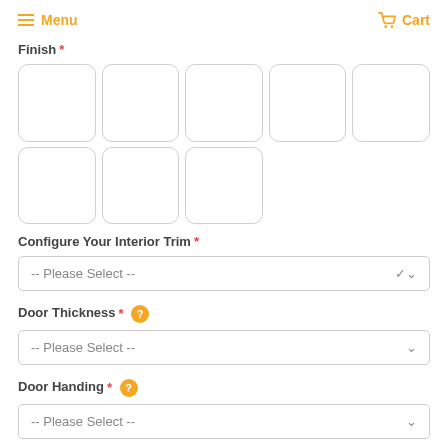Menu   Cart
Finish *
[Figure (other): 8 finish swatch selector boxes arranged in two rows: 5 in the first row and 3 in the second row, all empty with rounded corners and light gray borders]
Configure Your Interior Trim *
-- Please Select --
Door Thickness * ?
-- Please Select --
Door Handing * ?
-- Please Select --
Quantity